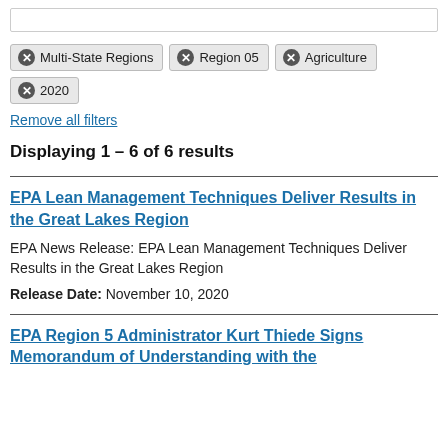[Figure (other): Input/search box at top of page]
✕ Multi-State Regions
✕ Region 05
✕ Agriculture
✕ 2020
Remove all filters
Displaying 1 – 6 of 6 results
EPA Lean Management Techniques Deliver Results in the Great Lakes Region
EPA News Release: EPA Lean Management Techniques Deliver Results in the Great Lakes Region
Release Date: November 10, 2020
EPA Region 5 Administrator Kurt Thiede Signs Memorandum of Understanding with the